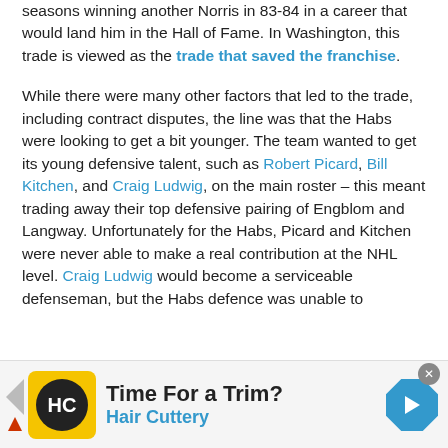seasons winning another Norris in 83-84 in a career that would land him in the Hall of Fame. In Washington, this trade is viewed as the trade that saved the franchise.
While there were many other factors that led to the trade, including contract disputes, the line was that the Habs were looking to get a bit younger. The team wanted to get its young defensive talent, such as Robert Picard, Bill Kitchen, and Craig Ludwig, on the main roster – this meant trading away their top defensive pairing of Engblom and Langway. Unfortunately for the Habs, Picard and Kitchen were never able to make a real contribution at the NHL level. Craig Ludwig would become a serviceable defenseman, but the Habs defence was unable to
[Figure (other): Advertisement banner for Hair Cuttery featuring yellow logo with HC initials, tagline 'Time For a Trim?' and blue subtitle 'Hair Cuttery', with navigation arrows and a blue diamond direction icon.]